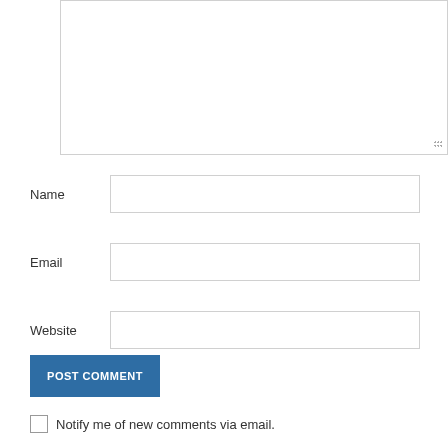[Figure (screenshot): Comment form with textarea, Name/Email/Website fields, POST COMMENT button, and notify me checkbox]
Name
Email
Website
POST COMMENT
Notify me of new comments via email.